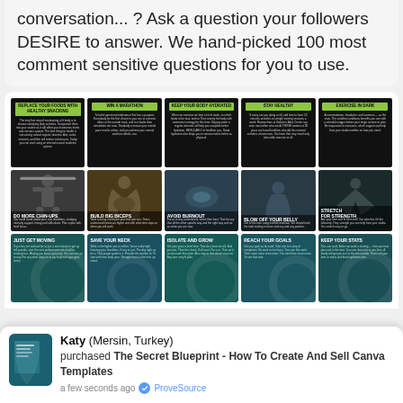conversation... ? Ask a question your followers DESIRE to answer. We hand-picked 100 most comment sensitive questions for you to use.
[Figure (screenshot): Grid of 15 fitness social media post templates arranged in 3 rows of 5. Row 1: green/black cards with titles REPLACE YOUR FOODS WITH HEALTHY SNACKING, WIN A MARATHON, KEEP YOUR BODY HYDRATED, STAY HEALTHY, EXERCISE IN DARK. Row 2: dark photo cards with titles DO MORE CHIN-UPS, BUILD BIG BICEPS, AVOID BURNOUT, BLOW OFF YOUR BELLY, STRETCH FOR STRENGTH. Row 3: teal cards with titles JUST GET MOVING, SAVE YOUR NECK, ISOLATE AND GROW, REACH YOUR GOALS, KEEP YOUR STATS.]
Katy (Mersin, Turkey) purchased The Secret Blueprint - How To Create And Sell Canva Templates a few seconds ago · ProveSource